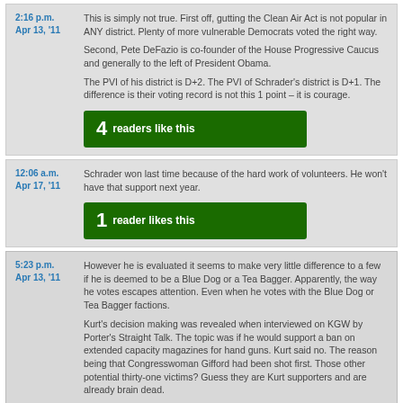2:16 p.m. Apr 13, '11
This is simply not true. First off, gutting the Clean Air Act is not popular in ANY district. Plenty of more vulnerable Democrats voted the right way.

Second, Pete DeFazio is co-founder of the House Progressive Caucus and generally to the left of President Obama.

The PVI of his district is D+2. The PVI of Schrader's district is D+1. The difference is their voting record is not this 1 point – it is courage.
4  readers like this
12:06 a.m. Apr 17, '11
Schrader won last time because of the hard work of volunteers. He won't have that support next year.
1  reader likes this
5:23 p.m. Apr 13, '11
However he is evaluated it seems to make very little difference to a few if he is deemed to be a Blue Dog or a Tea Bagger. Apparently, the way he votes escapes attention. Even when he votes with the Blue Dog or Tea Bagger factions.

Kurt's decision making was revealed when interviewed on KGW by Porter's Straight Talk. The topic was if he would support a ban on extended capacity magazines for hand guns. Kurt said no. The reason being that Congresswoman Gifford had been shot first. Those other potential thirty-one victims? Guess they are Kurt supporters and are already brain dead.